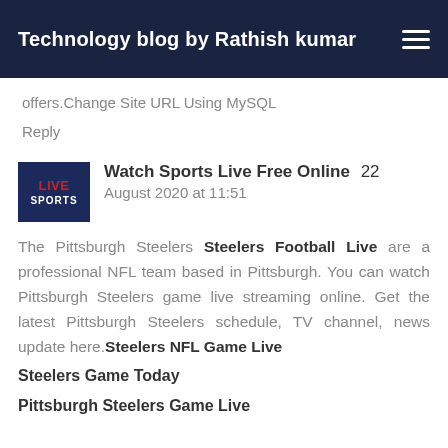Technology blog by Rathish kumar
offers.Change Site URL Using MySQL
Reply
Watch Sports Live Free Online  22 August 2020 at 11:51
The Pittsburgh Steelers Steelers Football Live are a professional NFL team based in Pittsburgh. You can watch Pittsburgh Steelers game live streaming online. Get the latest Pittsburgh Steelers schedule, TV channel, news update here.Steelers NFL Game Live
Steelers Game Today
Pittsburgh Steelers Game Live